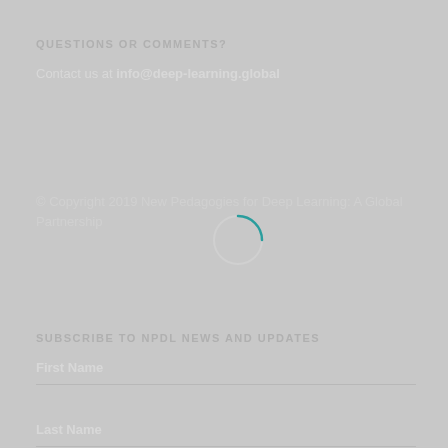QUESTIONS OR COMMENTS?
Contact us at info@deep-learning.global
© Copyright 2019 New Pedagogies for Deep Learning: A Global Partnership
[Figure (other): Loading spinner circle, partially teal colored arc on grey background]
SUBSCRIBE TO NPDL NEWS AND UPDATES
First Name
Last Name